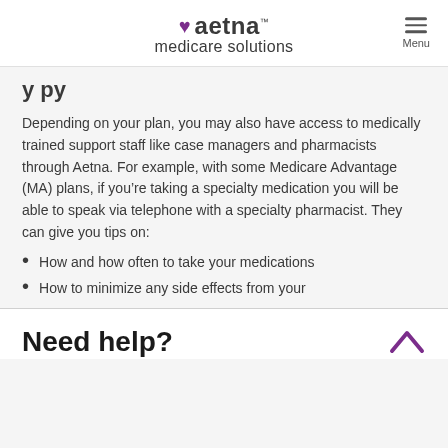aetna medicare solutions | Menu
y py
Depending on your plan, you may also have access to medically trained support staff like case managers and pharmacists through Aetna. For example, with some Medicare Advantage (MA) plans, if you’re taking a specialty medication you will be able to speak via telephone with a specialty pharmacist. They can give you tips on:
How and how often to take your medications
How to minimize any side effects from your
Need help?